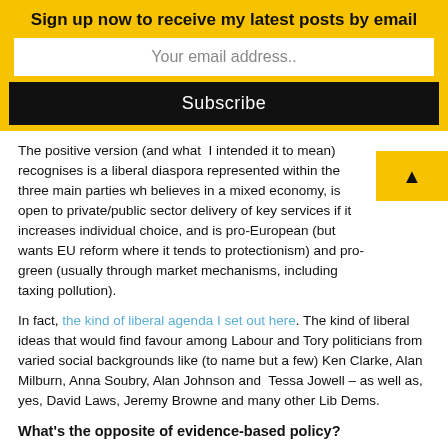Sign up now to receive my latest posts by email
Your email address..
Subscribe
The positive version (and what I intended it to mean) recognises is a liberal diaspora represented within the three main parties who believes in a mixed economy, is open to private/public sector delivery of key services if it increases individual choice, and is pro-European (but wants EU reform where it tends to protectionism) and pro-green (usually through market mechanisms, including taxing pollution).
In fact, the kind of liberal agenda I set out here. The kind of liberal ideas that would find favour among Labour and Tory politicians from varied social backgrounds like (to name but a few) Ken Clarke, Alan Milburn, Anna Soubry, Alan Johnson and Tessa Jowell – as well as, yes, David Laws, Jeremy Browne and many other Lib Dems.
What's the opposite of evidence-based policy?
Where I definitely part company with Jonathan is in his cynicism about evidence-based policy. Of course, all sorts of people claim their policies are evidence-based and do so from opposite ends of the